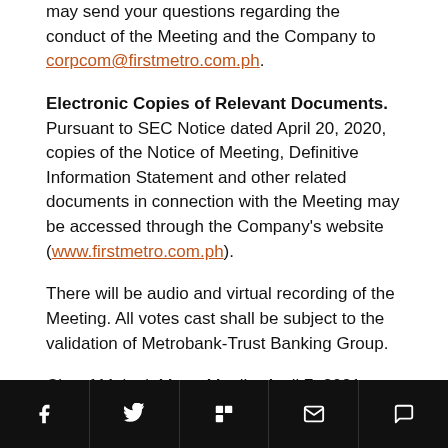may send your questions regarding the conduct of the Meeting and the Company to corpcom@firstmetro.com.ph.
Electronic Copies of Relevant Documents.  Pursuant to SEC Notice dated April 20, 2020, copies of the Notice of Meeting, Definitive Information Statement and other related documents in connection with the Meeting may be accessed through the Company's website (www.firstmetro.com.ph).
There will be audio and virtual recording of the Meeting. All votes cast shall be subject to the validation of Metrobank-Trust Banking Group.
City of Makati, Metro Manila, April 7, 2021.
[social share bar: Facebook, Twitter, Flipboard, Email, Chat]